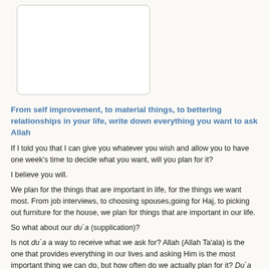[Figure (other): White rectangular box with rounded corners and a thin light gray border, representing an image placeholder area.]
From self improvement, to material things, to bettering relationships in your life, write down everything you want to ask Allah
If I told you that I can give you whatever you wish and allow you to have one week's time to decide what you want, will you plan for it?
I believe you will.
We plan for the things that are important in life, for the things we want most. From job interviews, to choosing spouses,going for Haj, to picking out furniture for the house, we plan for things that are important in our life.
So what about our du`a (supplication)?
Is not du`a a way to receive what we ask for? Allah (Allah Ta'ala) is the one that provides everything in our lives and asking Him is the most important thing we can do, but how often do we actually plan for it? Du`a too often becomes only a spur of the moment thing rather than a comprehensive list of things we wish for the most.